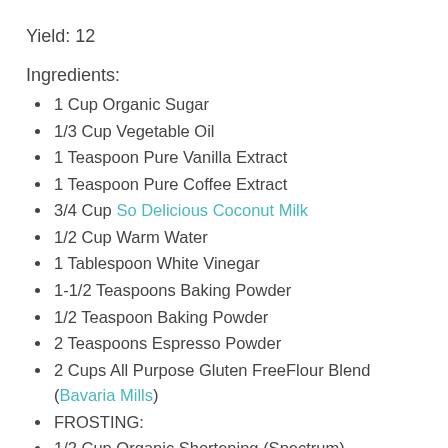Yield: 12
Ingredients:
1 Cup Organic Sugar
1/3 Cup Vegetable Oil
1 Teaspoon Pure Vanilla Extract
1 Teaspoon Pure Coffee Extract
3/4 Cup So Delicious Coconut Milk
1/2 Cup Warm Water
1 Tablespoon White Vinegar
1-1/2 Teaspoons Baking Powder
1/2 Teaspoon Baking Powder
2 Teaspoons Espresso Powder
2 Cups All Purpose Gluten FreeFlour Blend (Bavaria Mills)
FROSTING:
1/2 Cup Organic Shortening (Spectrum)